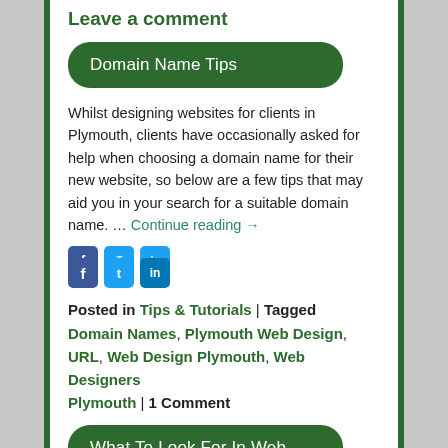Web Designers Plymouth, Web Hosting | Leave a comment
Domain Name Tips
Whilst designing websites for clients in Plymouth, clients have occasionally asked for help when choosing a domain name for their new website, so below are a few tips that may aid you in your search for a suitable domain name. … Continue reading →
[Figure (other): Social sharing icons: Facebook, Twitter, LinkedIn]
Posted in Tips & Tutorials | Tagged Domain Names, Plymouth Web Design, URL, Web Design Plymouth, Web Designers Plymouth | 1 Comment
What To Look For In Web Hosting
As a web designer in Plymouth I often recommend clients to web hosting that suits